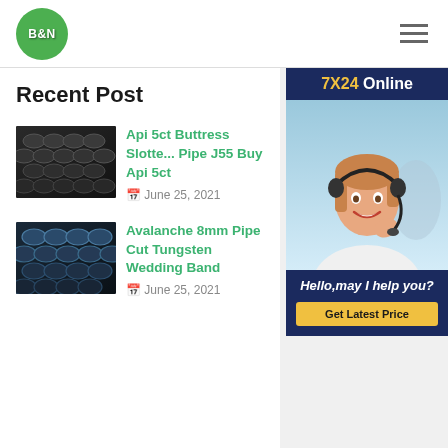[Figure (logo): B&N green circular logo with white bold text]
[Figure (illustration): Hamburger menu icon with three horizontal lines]
[Figure (infographic): 7X24 Online customer service widget with photo of woman with headset, Hello may I help you text, and Get Latest Price button]
Recent Post
[Figure (photo): Thumbnail of dark steel pipes bundled together]
Api 5ct Buttress Slotted Pipe J55 Buy Api 5ct
June 25, 2021
[Figure (photo): Thumbnail of dark blue steel pipes stacked together]
Avalanche 8mm Pipe Cut Tungsten Wedding Band
June 25, 2021